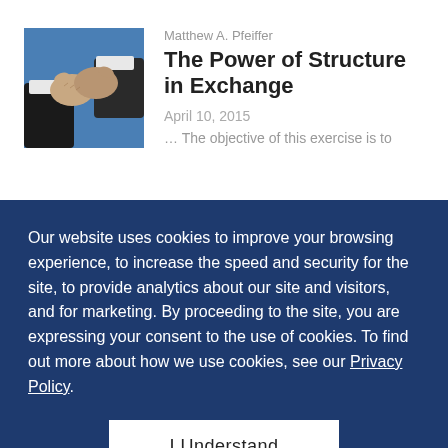[Figure (photo): Two people shaking hands, business handshake, blue background]
Matthew A. Pfeiffer
The Power of Structure in Exchange
April 10, 2015
… The objective of this exercise is to
Our website uses cookies to improve your browsing experience, to increase the speed and security for the site, to provide analytics about our site and visitors, and for marketing. By proceeding to the site, you are expressing your consent to the use of cookies. To find out more about how we use cookies, see our Privacy Policy.
I Understand